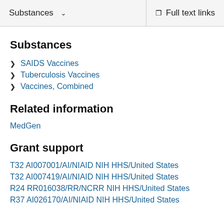Substances   Full text links
Substances
SAIDS Vaccines
Tuberculosis Vaccines
Vaccines, Combined
Related information
MedGen
Grant support
T32 AI007001/AI/NIAID NIH HHS/United States
T32 AI007419/AI/NIAID NIH HHS/United States
R24 RR016038/RR/NCRR NIH HHS/United States
R37 AI026170/AI/NIAID NIH HHS/United States